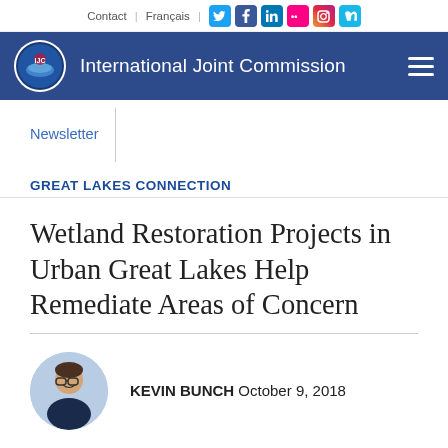Contact | Français | [social icons: Twitter, Facebook, LinkedIn, Flickr, Instagram, Vimeo]
International Joint Commission
Newsletter
GREAT LAKES CONNECTION
Wetland Restoration Projects in Urban Great Lakes Help Remediate Areas of Concern
KEVIN BUNCH October 9, 2018